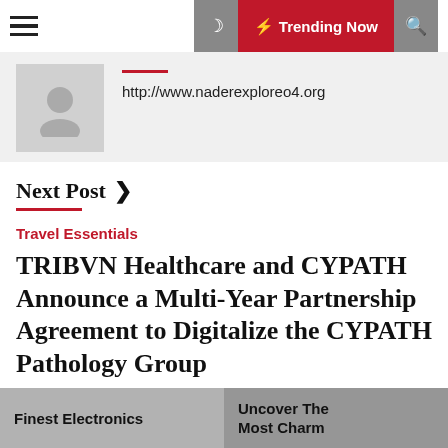Trending Now
http://www.naderexploreo4.org
Next Post >
Travel Essentials
TRIBVN Healthcare and CYPATH Announce a Multi-Year Partnership Agreement to Digitalize the CYPATH Pathology Group
Finest Electronics
Uncover The Most Charm